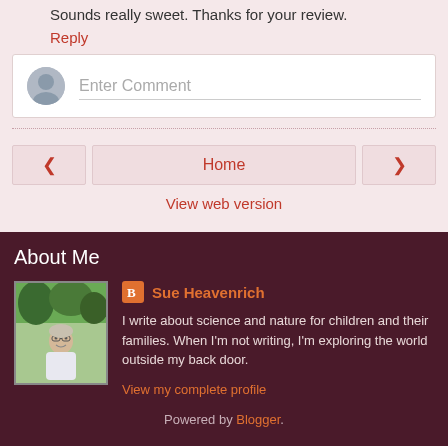Sounds really sweet. Thanks for your review.
Reply
Enter Comment
Home
View web version
About Me
Sue Heavenrich
I write about science and nature for children and their families. When I'm not writing, I'm exploring the world outside my back door.
View my complete profile
Powered by Blogger.